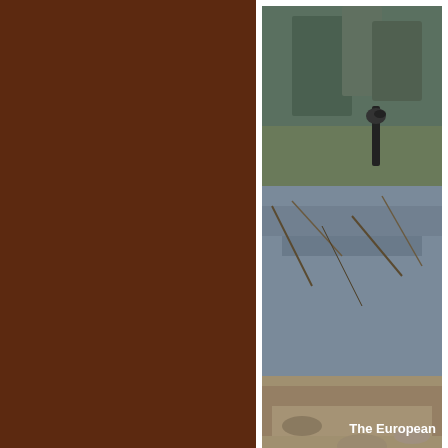[Figure (photo): A partial photograph visible in the upper right corner of the page, showing a bird or animal in a wet, marshy environment with water and debris. A copyright watermark reading '© PATR' is visible at the bottom right of the photo. The rest of the page is a dark brown background.]
The European